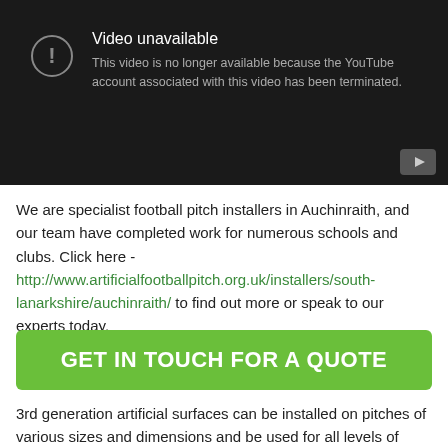[Figure (screenshot): YouTube video unavailable error screen with dark background. Shows an exclamation mark icon in a circle, text 'Video unavailable' and 'This video is no longer available because the YouTube account associated with this video has been terminated.' A play button icon appears in the bottom right corner.]
We are specialist football pitch installers in Auchinraith, and our team have completed work for numerous schools and clubs. Click here - http://www.artificialfootballpitch.org.uk/installers/south-lanarkshire/auchinraith/ to find out more or speak to our experts today.
GET IN TOUCH FOR A QUOTE
3rd generation artificial surfaces can be installed on pitches of various sizes and dimensions and be used for all levels of participation including, recreational, 5-a-side, 6-a-side, 7 a side, 9 v